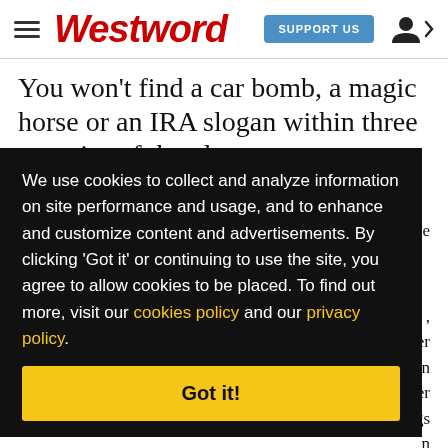Westword | SUPPORT US
You won't find a car bomb, a magic horse or an IRA slogan within three counties of the plot.
We use cookies to collect and analyze information on site performance and usage, and to enhance and customize content and advertisements. By clicking 'Got it' or continuing to use the site, you agree to allow cookies to be placed. To find out more, visit our cookies policy and our privacy policy.
Got it!
mysterious slang and the Guinness-thick